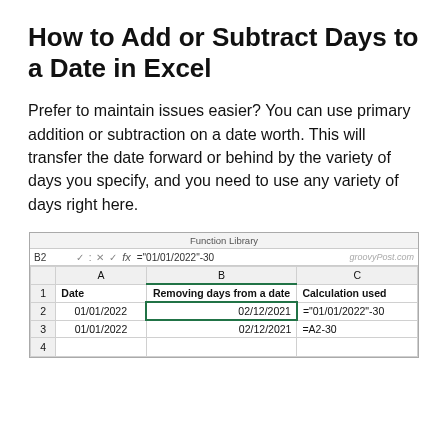How to Add or Subtract Days to a Date in Excel
Prefer to maintain issues easier? You can use primary addition or subtraction on a date worth. This will transfer the date forward or behind by the variety of days you specify, and you need to use any variety of days right here.
[Figure (screenshot): Excel spreadsheet screenshot showing Function Library ribbon, formula bar with B2 cell selected and formula ="01/01/2022"-30, and a grid with columns A (Date), B (Removing days from a date), C (Calculation used). Row 1 headers, Row 2: 01/01/2022, 02/12/2021, ="01/01/2022"-30. Row 3: 01/01/2022, 02/12/2021, =A2-30. Row 4 empty. groovyPost.com watermark visible.]